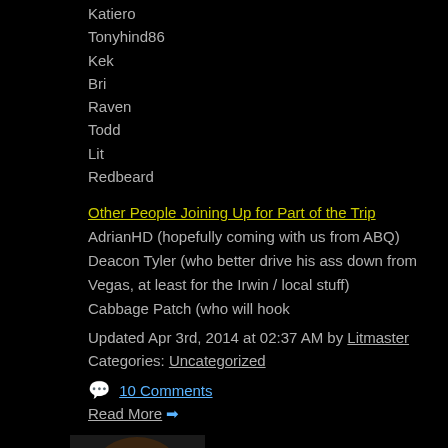Katiero
Tonyhind86
Kek
Bri
Raven
Todd
Lit
Redbeard
Other People Joining Up for Part of the Trip
AdrianHD (hopefully coming with us from ABQ)
Deacon Tyler (who better drive his ass down from Vegas, at least for the Irwin / local stuff)
Cabbage Patch (who will hook
Updated Apr 3rd, 2014 at 02:37 AM by Litmaster
Categories: Uncategorized
10 Comments
Read More
4.
[Figure (photo): Avatar photo of a person with long hair and glasses]
Exploration of Survival part 4. Blog 45 ... Falls hurt and leave bruises